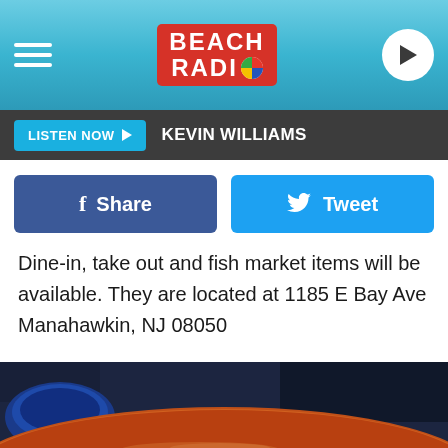Beach Radio
LISTEN NOW  KEVIN WILLIAMS
[Figure (screenshot): Facebook Share button and Twitter Tweet button side by side]
Dine-in, take out and fish market items will be available. They are located at 1185 E Bay Ave Manahawkin, NJ 08050
[Figure (photo): Close-up photo of a bowl of soup or stew with a blue ceramic bowl in the background, dark restaurant atmosphere]